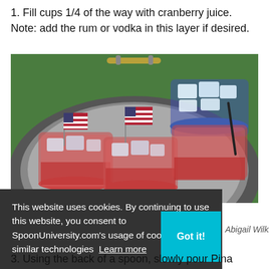1. Fill cups 1/4 of the way with cranberry juice. Note: add the rum or vodka in this layer if desired.
[Figure (photo): Photo of three glass cups filled with red cranberry juice and ice, with small American flags, arranged on a round dark tray on green grass. A blue bowl filled with ice is visible in the background. Attributed to Abigail Wilkins.]
This website uses cookies. By continuing to use this website, you consent to SpoonUniversity.com's usage of cookies and similar technologies  Learn more
3. Using the back of a spoon, slowly pour Pina Colada